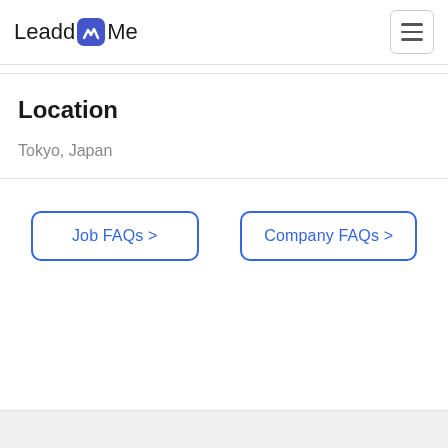Leadd Me (logo with hamburger menu)
Location
Tokyo, Japan
Job FAQs >
Company FAQs >